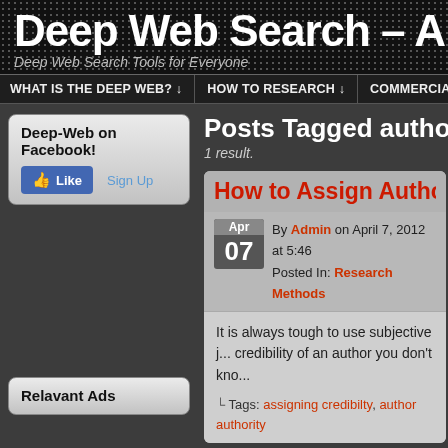Deep Web Search – A
Deep Web Search Tools for Everyone
WHAT IS THE DEEP WEB? ↓   HOW TO RESEARCH ↓   COMMERCIA...
Deep-Web on Facebook!
Posts Tagged author a
1 result.
How to Assign Author
By Admin on April 7, 2012 at 5:46
Posted In: Research Methods
It is always tough to use subjective j... credibility of an author you don't kno...
└ Tags: assigning credibilty, author authority
Relavant Ads